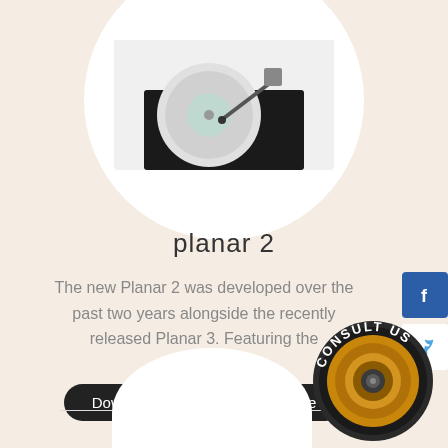[Figure (photo): Circular cropped photo of a Rega Planar 2 turntable with white/silver and black design, tonearm visible]
planar 2
The new Planar 2 was developed over the past two years alongside the recently released Planar 3. Featuring the
[Figure (other): Download PDF button (dark rounded pill button)]
[Figure (other): Enquire button (dark rounded pill button)]
[Figure (logo): Facebook social icon - blue square with white f]
[Figure (logo): Twitter social icon - white square with blue bird]
[Figure (logo): Consult Us badge - circular badge with speaker/woofer graphic and text CONSULT US around it]